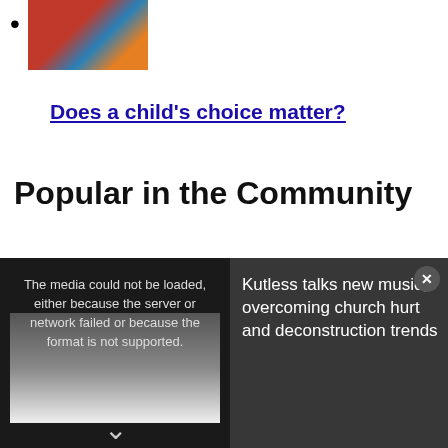[image thumbnail - photo of child/person]
Does a child's choice matter?
Popular in the Community
[Figure (screenshot): Video player overlay at bottom of page showing error message: 'The media could not be loaded, either because the server or network failed or because the format is not supported.' with a video thumbnail of a person on the left and text 'Kutless talks new music, overcoming church hurt and deconstruction trends' on the right, with a close (X) button.]